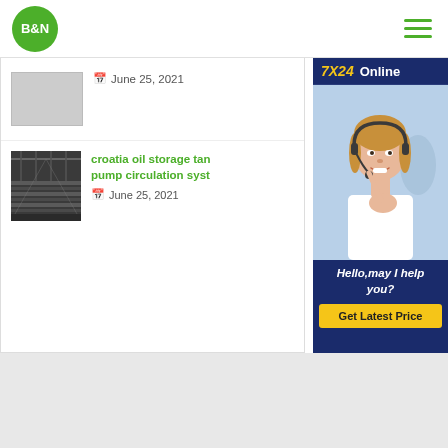B&N logo and navigation menu
June 25, 2021
croatia oil storage tank pump circulation system
June 25, 2021
[Figure (photo): Customer service representative with headset — 7X24 Online chat widget with 'Hello, may I help you?' and 'Get Latest Price' button]
[Figure (photo): Industrial steel pipe/conveyor facility interior]